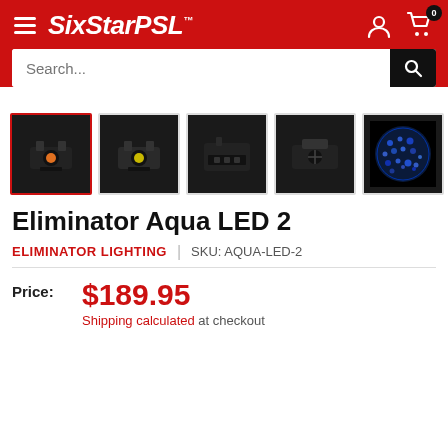SixStarPSL
[Figure (screenshot): Product thumbnail images of Eliminator Aqua LED 2 lighting fixture, 7 thumbnails shown in a row — first selected with red border, showing black LED fixture; subsequent thumbnails show different angles and lighting effects (blue and green bubble patterns on dark background)]
Eliminator Aqua LED 2
ELIMINATOR LIGHTING | SKU: AQUA-LED-2
Price: $189.95
Shipping calculated at checkout